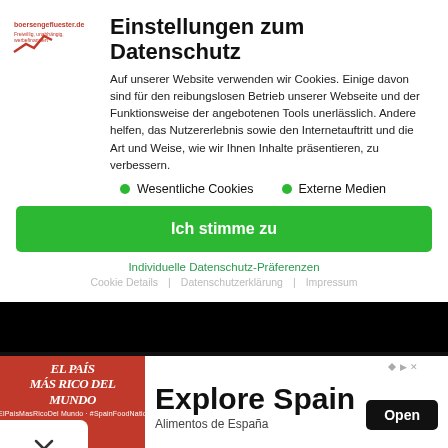[Figure (logo): boersengefluester.de logo with red line chart icon]
Einstellungen zum Datenschutz
Auf unserer Website verwenden wir Cookies. Einige davon sind für den reibungslosen Betrieb unserer Webseite und der Funktionsweise der angebotenen Tools unerlässlich. Andere helfen, das Nutzererlebnis sowie den Internetauftritt und die Art und Weise, wie wir Ihnen Inhalte präsentieren, zu verbessern.
Wesentliche Cookies
Externe Medien
Ich stimme zu
Individuelle Datenschutz-Präferenzen
Cookie Details | Datenschutzerklärung | Impressum
Über uns
BankM
Testimonials
Cometis
Referenzen
Cross Alliance
adaten
Edison Research
[Figure (infographic): Advertisement banner: El País Más Rico Del Mundo - Explore Spain - Alimentos de España with Open button]